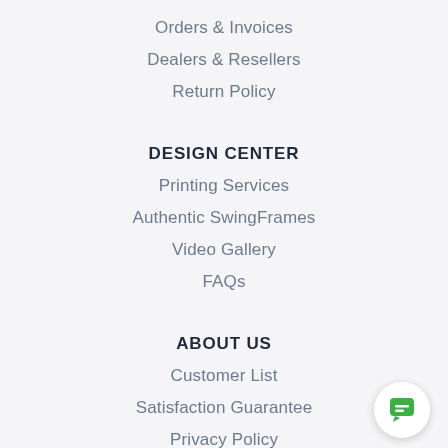Orders & Invoices
Dealers & Resellers
Return Policy
DESIGN CENTER
Printing Services
Authentic SwingFrames
Video Gallery
FAQs
ABOUT US
Customer List
Satisfaction Guarantee
Privacy Policy
[Figure (illustration): Green chat bubble icon in a white circular button, bottom right corner]